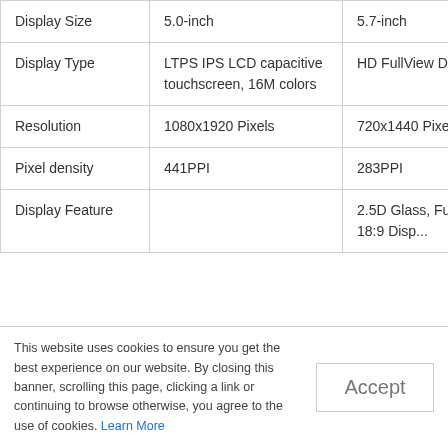|  | Device 1 | Device 2 |
| --- | --- | --- |
| Display Size | 5.0-inch | 5.7-inch |
| Display Type | LTPS IPS LCD capacitive touchscreen, 16M colors | HD FullView Display |
| Resolution | 1080x1920 Pixels | 720x1440 Pixels |
| Pixel density | 441PPI | 283PPI |
| Display Feature |  | 2.5D Glass, Full View 18:9 Display |
This website uses cookies to ensure you get the best experience on our website. By closing this banner, scrolling this page, clicking a link or continuing to browse otherwise, you agree to the use of cookies. Learn More